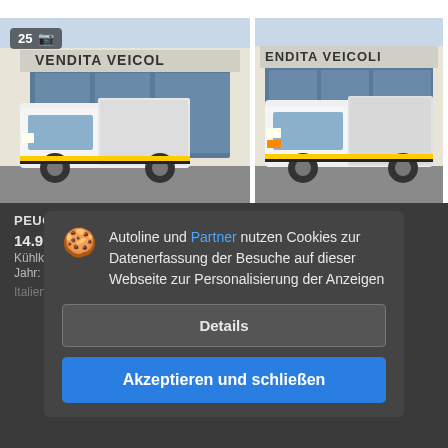[Figure (photo): White Peugeot Partner refrigerated van parked in front of Vendita Veicoli dealership, front-angled view. Badge showing 25 and camera icon.]
[Figure (photo): White Peugeot Partner refrigerated van parked in front of Vendita Veicoli dealership, front view.]
PEUGEOT PARTNER 120 L H1 1.6
14.9 €
Kühlkoffer
Jahr: 201...
Italien, Quinzano D'oglio
Autoline und Partner nutzen Cookies zur Datenerfassung der Besuche auf dieser Webseite zur Personalisierung der Anzeigen
Details
Akzeptieren und schließen